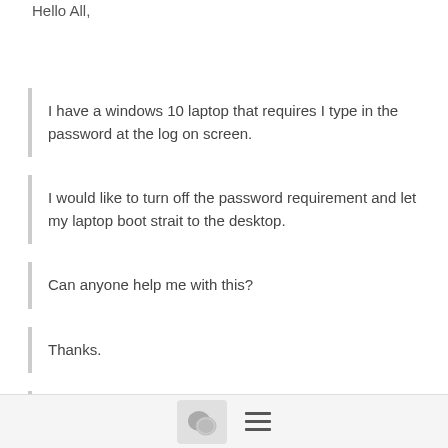Hello All,
I have a windows 10 laptop that requires I type in the password at the log on screen.
I would like to turn off the password requirement and let my laptop boot strait to the desktop.
Can anyone help me with this?
Thanks.
Robbie
[Figure (other): Bottom toolbar with chat icon button and hamburger menu icon]